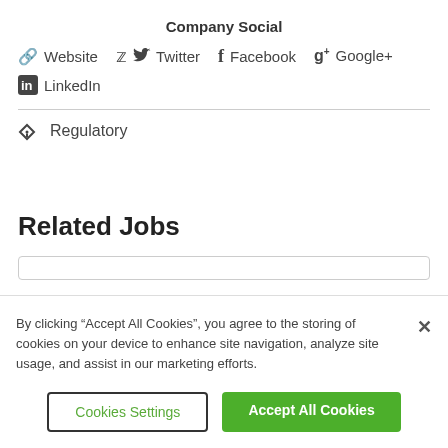Company Social
Website  Twitter  Facebook  Google+  LinkedIn
Regulatory
Related Jobs
By clicking “Accept All Cookies”, you agree to the storing of cookies on your device to enhance site navigation, analyze site usage, and assist in our marketing efforts.
Cookies Settings | Accept All Cookies